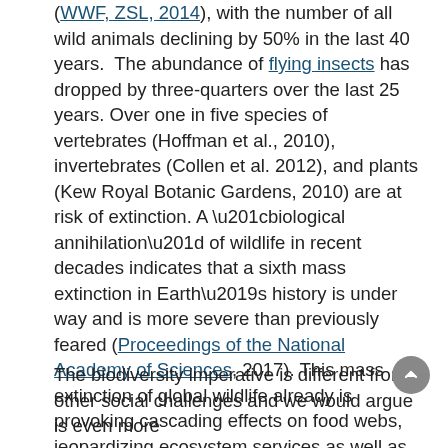(WWF, ZSL, 2014), with the number of all wild animals declining by 50% in the last 40 years.  The abundance of flying insects has dropped by three-quarters over the last 25 years. Over one in five species of vertebrates (Hoffman et al., 2010), invertebrates (Collen et al. 2012), and plants (Kew Royal Botanic Gardens, 2010) are at risk of extinction. A “biological annihilation” of wildlife in recent decades indicates that a sixth mass extinction in Earth’s history is under way and is more severe than previously feared (Proceedings of the National Academy of Sciences, 2017). This mass extinction of global wildlife already is provoking cascading effects on food webs, jeopardizing ecosystem services as well as threatening the world’s food supplies (Biodiversity International, 2017).
The biodiversity imperative is different from other social challenges and we would argue is even more critical in position than previously thought...